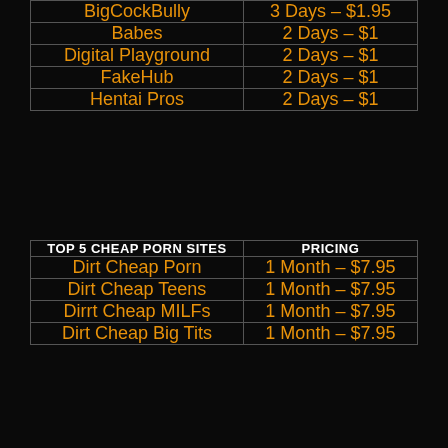|  |  |
| --- | --- |
| BigCockBully | 3 Days – $1.95 |
| Babes | 2 Days – $1 |
| Digital Playground | 2 Days – $1 |
| FakeHub | 2 Days – $1 |
| Hentai Pros | 2 Days – $1 |
| TOP 5 CHEAP PORN SITES | PRICING |
| --- | --- |
| Dirt Cheap Porn | 1 Month – $7.95 |
| Dirt Cheap Teens | 1 Month – $7.95 |
| Dirrt Cheap MILFs | 1 Month – $7.95 |
| Dirt Cheap Big Tits | 1 Month – $7.95 |